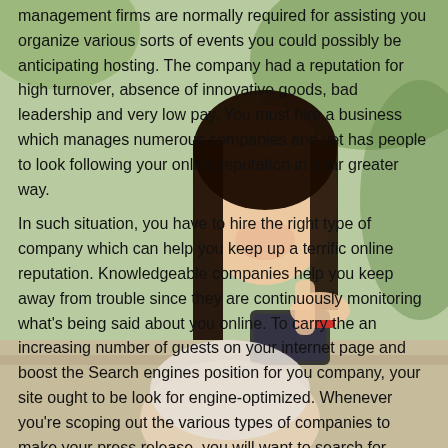[Figure (photo): A young woman smiling and looking at a smartphone, seated at a table outdoors with a blurred green background. She has long dark hair and is wearing a light-colored outfit with a red bracelet.]
management firms are normally required for assisting you organize various sorts of events you could possibly be anticipating hosting. The company had a reputation for high turnover, absence of innovative goods, bad leadership and very low pay. You must hire a business which manages numerous companies and yet has people to look following your online reputation in a far greater way.

In such situation, you have to hire the right type of company which can help you keep up a terrific online reputation. Knowledgeable companies help you keep away from trouble since they are continuously monitoring what's being said about you online. To carry the an increasing number of guests on your internet page and boost the Search engines position for you company, your site ought to be look for engine-optimized. Whenever you're scoping out the various types of companies to make your press release, you will want to search for several facets that will assure you that you're heading down a constructive and promising path to success. Additionally, a PR